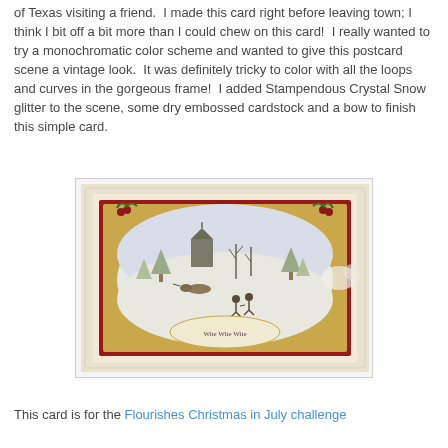of Texas visiting a friend.  I made this card right before leaving town; I think I bit off a bit more than I could chew on this card!  I really wanted to try a monochromatic color scheme and wanted to give this postcard scene a vintage look.  It was definitely tricky to color with all the loops and curves in the gorgeous frame!  I added Stampendous Crystal Snow glitter to the scene, some dry embossed cardstock and a bow to finish this simple card.
[Figure (photo): A handmade greeting card featuring a vintage winter postcard scene inside an ornate gold and red frame with holly accents. The oval center image shows figures ice skating, a horse-drawn sleigh, snow-covered trees, and a church in the background. The card is mounted on cream embossed cardstock with a white ribbon bow.]
This card is for the Flourishes Christmas in July challenge